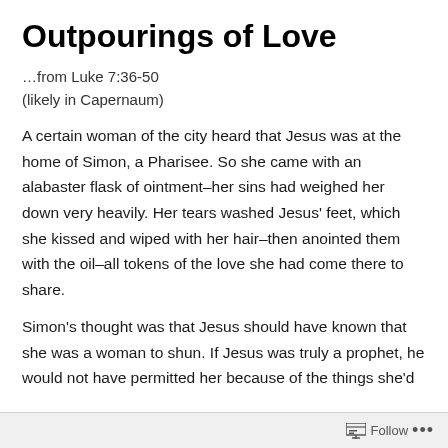Outpourings of Love
…from Luke 7:36-50
(likely in Capernaum)
A certain woman of the city heard that Jesus was at the home of Simon, a Pharisee. So she came with an alabaster flask of ointment–her sins had weighed her down very heavily. Her tears washed Jesus' feet, which she kissed and wiped with her hair–then anointed them with the oil–all tokens of the love she had come there to share.
Simon's thought was that Jesus should have known that she was a woman to shun. If Jesus was truly a prophet, he would not have permitted her because of the things she'd
Follow …